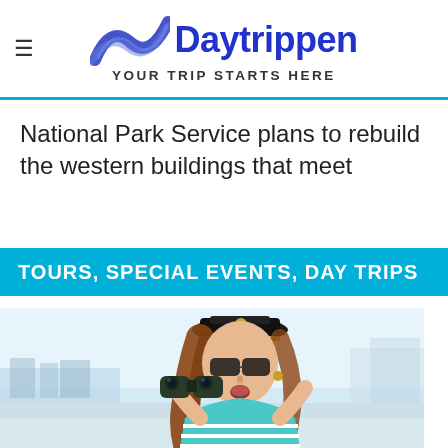Daytrippen — YOUR TRIP STARTS HERE
National Park Service plans to rebuild the western buildings that meet
TOURS, SPECIAL EVENTS, DAY TRIPS
[Figure (photo): Woman wearing a captain's hat looking through binoculars outdoors near a marina, wearing a blue and white striped top, with a surprised expression.]